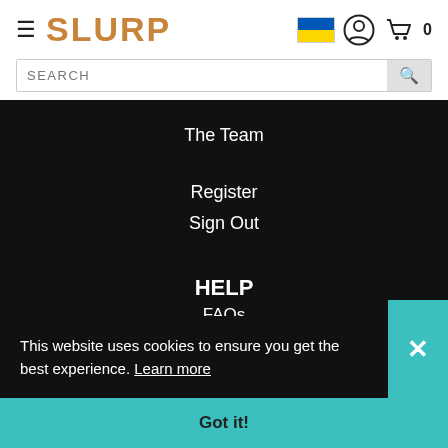SLURP
The Team
Register
Sign Out
HELP
FAQs
Delivery and Returns
This website uses cookies to ensure you get the best experience. Learn more
Got it!